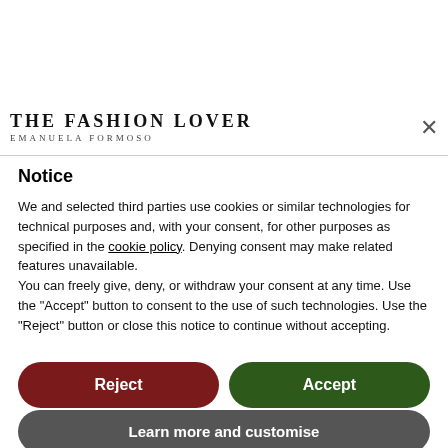[Figure (photo): Two women in dark clothing photographed in front of a door]
atmosphere and discover its
[Figure (logo): The Fashion Lover — Emanuela Formoso logo]
Notice
We and selected third parties use cookies or similar technologies for technical purposes and, with your consent, for other purposes as specified in the cookie policy. Denying consent may make related features unavailable.
You can freely give, deny, or withdraw your consent at any time. Use the "Accept" button to consent to the use of such technologies. Use the "Reject" button or close this notice to continue without accepting.
Reject
Accept
Learn more and customise